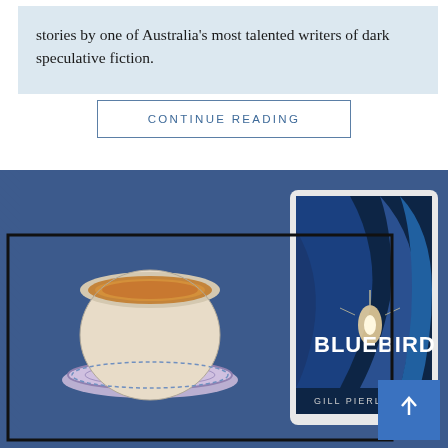stories by one of Australia's most talented writers of dark speculative fiction.
CONTINUE READING
[Figure (photo): Flat lay photo of a book (tablet/e-reader) showing the cover of 'Bluebird' by Gill Pierlot with blue feather imagery, next to a cup of tea with decorative saucer, on a blue denim fabric background. A black rectangular border overlays part of the image, and a blue scroll-up arrow button is in the bottom right.]